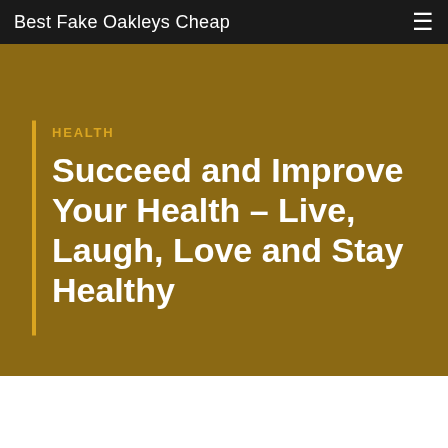Best Fake Oakleys Cheap
HEALTH
Succeed and Improve Your Health – Live, Laugh, Love and Stay Healthy